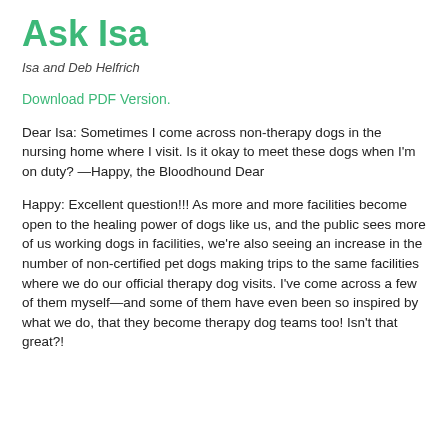Ask Isa
Isa and Deb Helfrich
Download PDF Version.
Dear Isa: Sometimes I come across non-therapy dogs in the nursing home where I visit. Is it okay to meet these dogs when I’m on duty? —Happy, the Bloodhound Dear
Happy: Excellent question!!! As more and more facilities become open to the healing power of dogs like us, and the public sees more of us working dogs in facilities, we’re also seeing an increase in the number of non-certified pet dogs making trips to the same facilities where we do our official therapy dog visits. I’ve come across a few of them myself—and some of them have even been so inspired by what we do, that they become therapy dog teams too! Isn’t that great?!